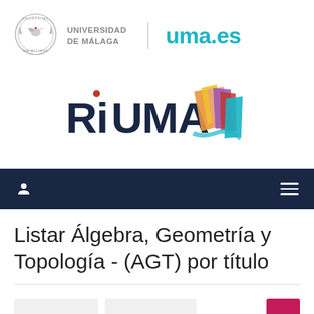[Figure (logo): Universidad de Málaga seal/crest logo with circular emblem, text UNIVERSIDAD DE MÁLAGA, vertical divider, and uma.es text logo in teal]
[Figure (logo): RiUMA repository logo with bold dark blue RiUMA text and colorful stylized book pages graphic in orange, yellow, purple, teal]
[Figure (screenshot): Dark navy navigation bar with user icon on left and hamburger menu icon on right]
Listar Álgebra, Geometría y Topología - (AGT) por título